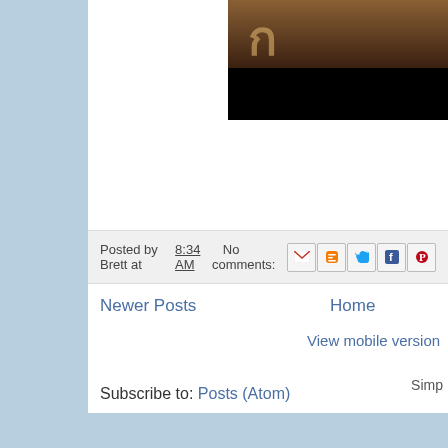[Figure (photo): Partial image showing brown/dark background with black bar at bottom, cropped at top-right of page]
Posted by Brett at 8:34 AM   No comments:
[Figure (infographic): Row of social sharing icons: Gmail, Blogger, Twitter, Facebook, Pinterest]
Newer Posts
Home
View mobile version
Subscribe to: Posts (Atom)
Simp